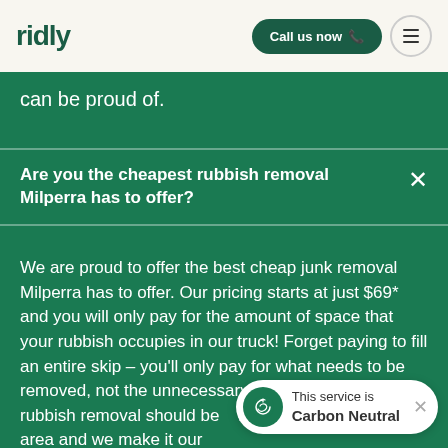ridly | Call us now
can be proud of.
Are you the cheapest rubbish removal Milperra has to offer?
We are proud to offer the best cheap junk removal Milperra has to offer. Our pricing starts at just $69* and you will only pay for the amount of space that your rubbish occupies in our truck! Forget paying to fill an entire skip – you'll only pay for what needs to be removed, not the unnecessary overheads. W... rubbish removal should be... residents of the Milperra area and we make it our
This service is Carbon Neutral